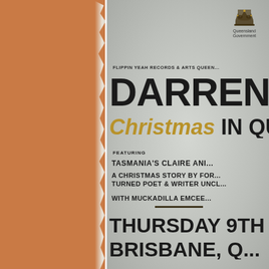[Figure (logo): Queensland Government coat of arms logo with crown and animals, text reads 'Queensland Government']
FLIPPIN YEAH RECORDS & ARTS QUEEN...
DARREN HA...
CHRISTMAS IN QUEEN...
FEATURING
TASMANIA'S CLAIRE ANI...
A CHRISTMAS STORY BY FOR... TURNED POET & WRITER UNCL...
WITH MUCKADILLA EMCEE...
THURSDAY 9TH D...
BRISBANE, Q...